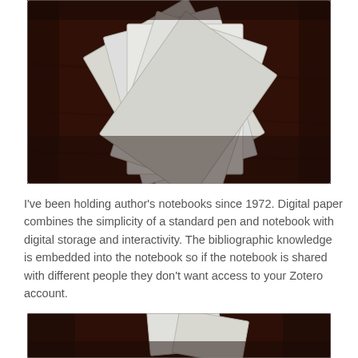[Figure (photo): Several white paper notebooks fanned out on a dark wooden surface, photographed from above.]
I've been holding author's notebooks since 1972. Digital paper combines the simplicity of a standard pen and notebook with digital storage and interactivity. The bibliographic knowledge is embedded into the notebook so if the notebook is shared with different people they don't want access to your Zotero account.
[Figure (photo): Partial view of notebooks on dark background, cropped at bottom of page.]